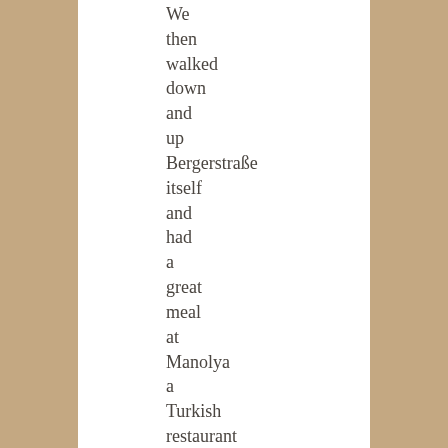We then walked down and up Bergerstraße itself and had a great meal at Manolya a Turkish restaurant we had visited on a